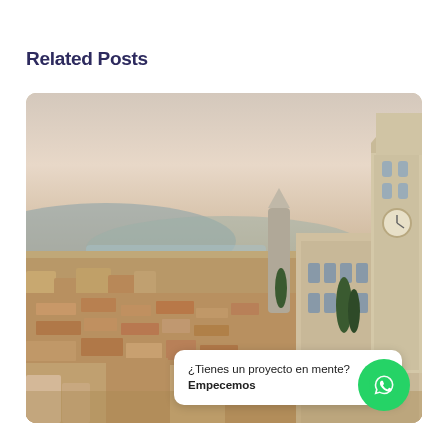Related Posts
[Figure (photo): Aerial panoramic view of a European city (Girona, Spain) with terracotta rooftops, a tall church/cathedral bell tower on the right, a modern tower in the center-background, surrounding hills, and warm evening light.]
¿Tienes un proyecto en mente? Empecemos